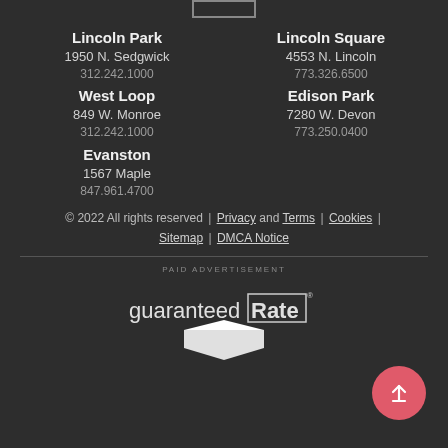Lincoln Park
1950 N. Sedgwick
312.242.1000
Lincoln Square
4553 N. Lincoln
773.326.6500
West Loop
849 W. Monroe
312.242.1000
Edison Park
7280 W. Devon
773.250.0400
Evanston
1567 Maple
847.961.4700
© 2022 All rights reserved | Privacy and Terms | Cookies | Sitemap | DMCA Notice
[Figure (logo): Guaranteed Rate logo with arrow/house shape below]
PAID ADVERTISEMENT